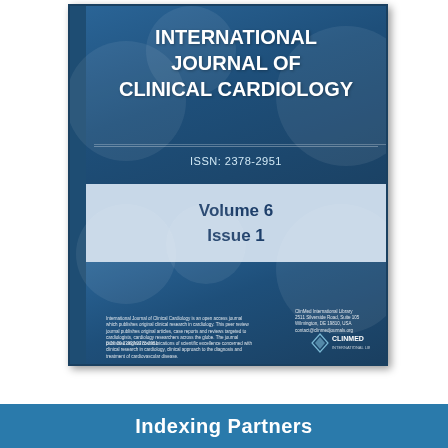[Figure (illustration): Book cover of International Journal of Clinical Cardiology, Volume 6 Issue 1, ISSN 2378-2951, published by ClinMed International Library. Dark blue cover with decorative circular elements, volume/issue band in light blue-grey, and footer with journal description and publisher contact.]
Indexing Partners